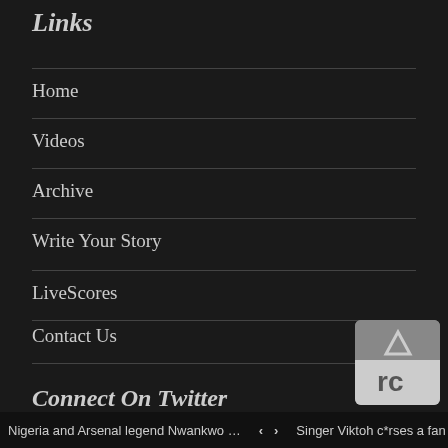Links
Home
Videos
Archive
Write Your Story
LiveScores
Contact Us
Advertise
Connect On Twitter
Tweets from @instablogSja
Nigeria and Arsenal legend Nwankwo ... | Singer Viktoh c*rses a fan who crit*ci...